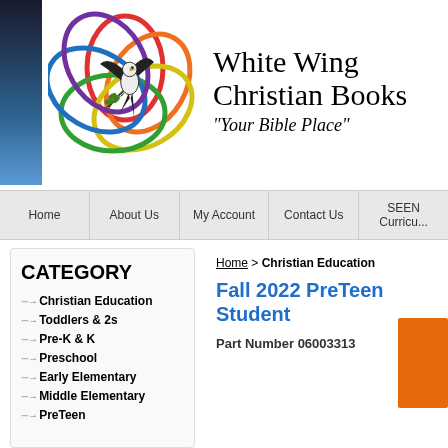[Figure (logo): White Wing Christian Books logo with colorful overlapping circles/hearts and a dove illustration]
White Wing Christian Books
"Your Bible Place"
Home | About Us | My Account | Contact Us | SEEN Curricu...
CATEGORY
Christian Education
Toddlers & 2s
Pre-K & K
Preschool
Early Elementary
Middle Elementary
PreTeen
Home > Christian Education
Fall 2022 PreTeen Student
Part Number 06003313